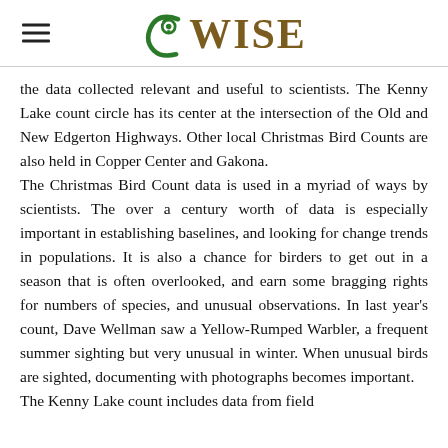WISE
the data collected relevant and useful to scientists. The Kenny Lake count circle has its center at the intersection of the Old and New Edgerton Highways. Other local Christmas Bird Counts are also held in Copper Center and Gakona. The Christmas Bird Count data is used in a myriad of ways by scientists. The over a century worth of data is especially important in establishing baselines, and looking for change trends in populations. It is also a chance for birders to get out in a season that is often overlooked, and earn some bragging rights for numbers of species, and unusual observations. In last year's count, Dave Wellman saw a Yellow-Rumped Warbler, a frequent summer sighting but very unusual in winter. When unusual birds are sighted, documenting with photographs becomes important. The Kenny Lake count includes data from field